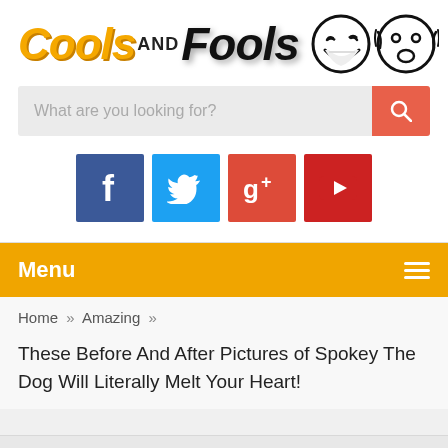[Figure (logo): Cools AND Fools logo with thumbs-up icon and two smiley face circles]
[Figure (screenshot): Search bar with placeholder text 'What are you looking for?' and orange search button]
[Figure (infographic): Social media icons: Facebook (blue), Twitter (light blue), Google+ (red-orange), YouTube (red)]
Menu ≡
Home » Amazing »
These Before And After Pictures of Spokey The Dog Will Literally Melt Your Heart!